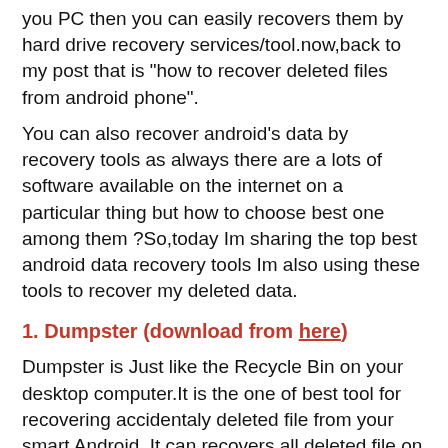you PC then you can easily recovers them by hard drive recovery services/tool.now,back to my post that is "how to recover deleted files from android phone".
You can also recover android's data by recovery tools as always there are a lots of software available on the internet on a particular thing but how to choose best one among them ?So,today Im sharing the top best android data recovery tools Im also using these tools to recover my deleted data.
1. Dumpster (download from here)
Dumpster is Just like the Recycle Bin on your desktop computer.It is the one of best tool for recovering accidentaly deleted file from your smart Android. It can recovers all deleted file on your android. It also very easy to use because of it's user friendly interface. It has following features :-